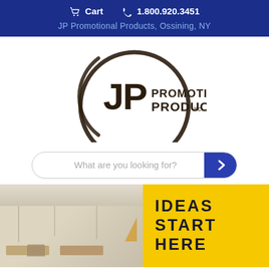🛒 Cart   📞 1.800.920.3451
JP Promotional Products, Ossining, NY
[Figure (logo): JP Promotional Products Inc. logo — circular design with JP initials and text PROMOTIONAL PRODUCTS inc.]
What are you looking for?
[Figure (photo): Interior scene of an office/trade show space with a yellow banner reading IDEAS START HERE]
Home
» 5 Out of the Box Promotional Products We Love – and You